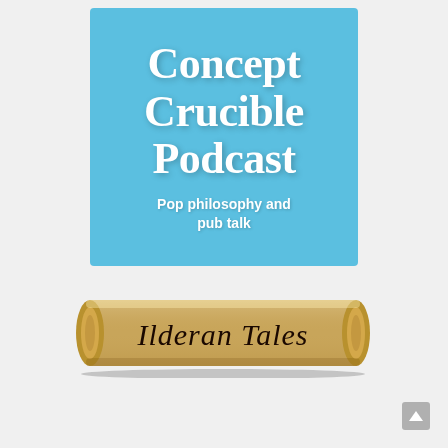[Figure (logo): Concept Crucible Podcast logo: a sky-blue square with white serif text reading 'Concept Crucible Podcast' and subtitle 'Pop philosophy and pub talk']
[Figure (logo): Ilderan Tales logo: a scroll/banner graphic with calligraphic text reading 'Ilderan Tales']